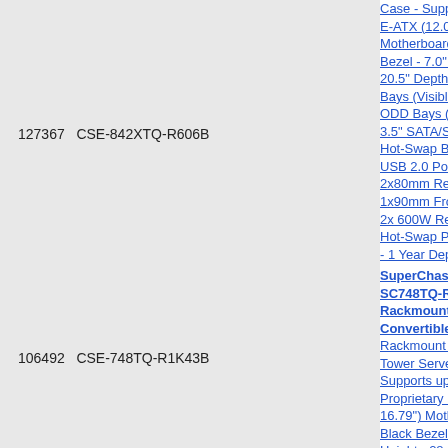127367   CSE-842XTQ-R606B
Case - Supports E-ATX (12.0" Motherboard Bezel - 7.0" H 20.5" Depth - Bays (Visible ODD Bays (V 3.5" SATA/SA Hot-Swap Ba USB 2.0 Por 2x80mm Rea 1x90mm Fro 2x 600W Re Hot-Swap Po - 1 Year Dep Mfg. Warrant
106492   CSE-748TQ-R1K43B
SuperChass SC748TQ-R1 Rackmount Convertible Rackmount C Tower Serve Supports up Proprietary (3 16.79") Moth Black Bezel - Height - 28.4 2x 5.25" Bay 1x 3.5" Bays 5x 3.5" SATA Hot-Swap Ba USB 2.0 Por